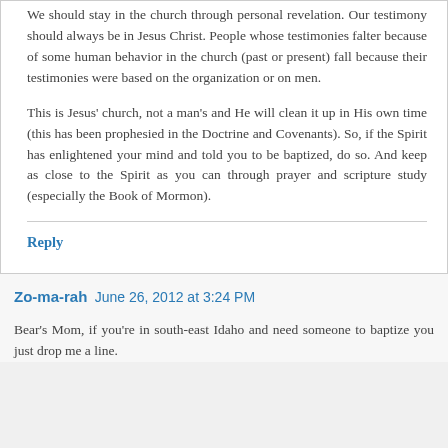We should stay in the church through personal revelation. Our testimony should always be in Jesus Christ. People whose testimonies falter because of some human behavior in the church (past or present) fall because their testimonies were based on the organization or on men.
This is Jesus' church, not a man's and He will clean it up in His own time (this has been prophesied in the Doctrine and Covenants). So, if the Spirit has enlightened your mind and told you to be baptized, do so. And keep as close to the Spirit as you can through prayer and scripture study (especially the Book of Mormon).
Reply
Zo-ma-rah  June 26, 2012 at 3:24 PM
Bear's Mom, if you're in south-east Idaho and need someone to baptize you just drop me a line.